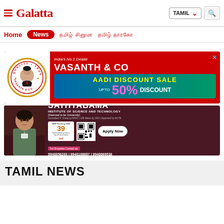Galatta — TAMIL navigation bar with Home, News, Tamil news links
[Figure (infographic): Vasanth & Co advertisement banner — India's No.1 Dealer, AADI DISCOUNT SALE, UPTO 50% DISCOUNT]
[Figure (infographic): Sathyabama Institute of Science and Technology advertisement — Apply Now, NIRF Ranking 2020 #39, contact numbers 9940058263 | 9940168007 | 9940069538]
TAMIL NEWS